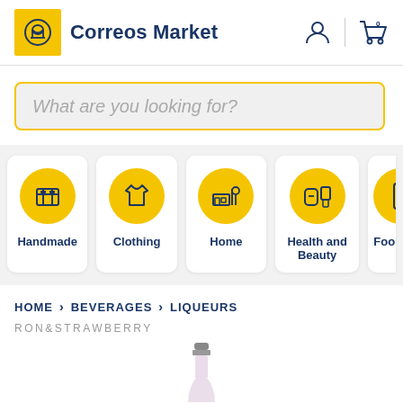Correos Market
What are you looking for?
Handmade
Clothing
Home
Health and Beauty
Foo...
HOME > BEVERAGES > LIQUEURS
RON&STRAWBERRY
[Figure (photo): Top of a liqueur bottle with a grey/silver capsule]